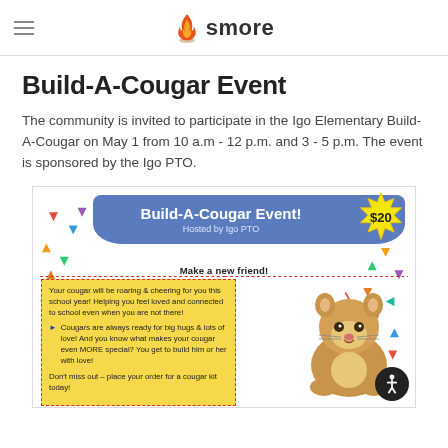smore
Build-A-Cougar Event
The community is invited to participate in the Igo Elementary Build-A-Cougar on May 1 from 10 a.m - 12 p.m. and 3 - 5 p.m. The event is sponsored by the Igo PTO.
[Figure (illustration): Build-A-Cougar Event flyer showing a blue banner with event title 'Build-A-Cougar Event! Hosted by Igo PTO', a yellow starburst badge showing '$20', colorful confetti triangle background, a yellow text box with event details and bullet points, and a photo of a stuffed cougar plush toy. Text includes 'Make a new friend!', details about the cougar stuffed animal, and 'Don't miss out – place your order for a cougar kit today!']